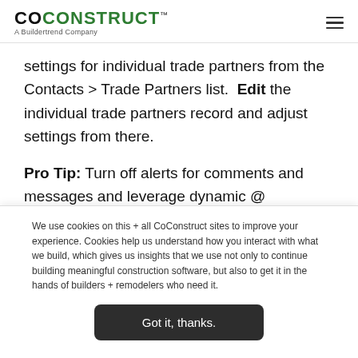[Figure (logo): CoConstruct logo with tagline 'A Builderend Company']
settings for individual trade partners from the Contacts > Trade Partners list. Edit the individual trade partners record and adjust settings from there.
Pro Tip: Turn off alerts for comments and messages and leverage dynamic @ mentioning on projects to
We use cookies on this + all CoConstruct sites to improve your experience. Cookies help us understand how you interact with what we build, which gives us insights that we use not only to continue building meaningful construction software, but also to get it in the hands of builders + remodelers who need it.